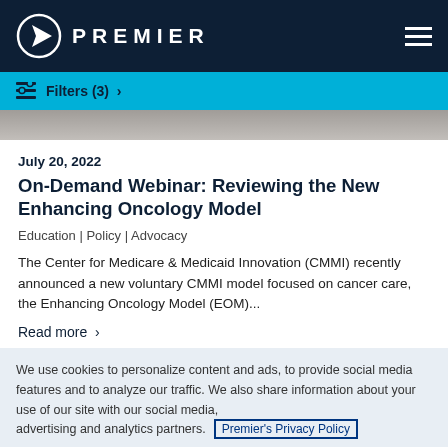PREMIER
Filters (3) >
[Figure (photo): Partial view of a person, cropped image strip at top of article listing]
July 20, 2022
On-Demand Webinar: Reviewing the New Enhancing Oncology Model
Education | Policy | Advocacy
The Center for Medicare & Medicaid Innovation (CMMI) recently announced a new voluntary CMMI model focused on cancer care, the Enhancing Oncology Model (EOM)...
Read more >
We use cookies to personalize content and ads, to provide social media features and to analyze our traffic. We also share information about your use of our site with our social media, advertising and analytics partners.